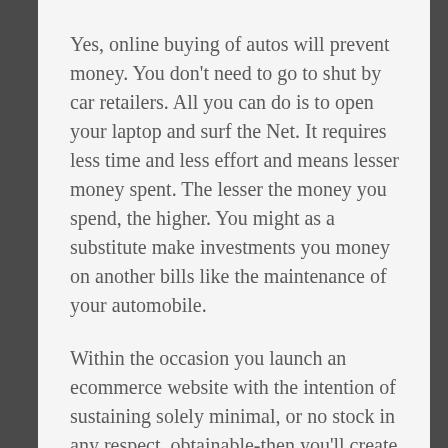Yes, online buying of autos will prevent money. You don't need to go to shut by car retailers. All you can do is to open your laptop and surf the Net. It requires less time and less effort and means lesser money spent. The lesser the money you spend, the higher. You might as a substitute make investments you money on another bills like the maintenance of your automobile.
Within the occasion you launch an ecommerce website with the intention of sustaining solely minimal, or no stock in any respect, obtainable-then you'll create a partnership with a wholesale provider who supplies drop delivery providers. When a customer places their order with you, you pay the supplier their wholesale worth-and you keep the earnings. Since you only pay wholesale costs, you are free to find out the markup for a